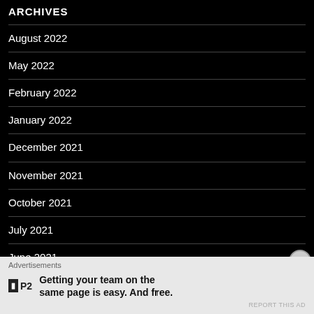ARCHIVES
August 2022
May 2022
February 2022
January 2022
December 2021
November 2021
October 2021
July 2021
June 2021
Advertisements
Getting your team on the same page is easy. And free.